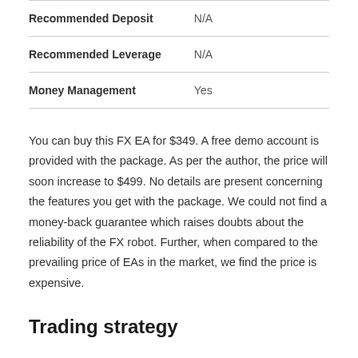|  |  |
| --- | --- |
| Recommended Deposit | N/A |
| Recommended Leverage | N/A |
| Money Management | Yes |
You can buy this FX EA for $349. A free demo account is provided with the package. As per the author, the price will soon increase to $499. No details are present concerning the features you get with the package. We could not find a money-back guarantee which raises doubts about the reliability of the FX robot. Further, when compared to the prevailing price of EAs in the market, we find the price is expensive.
Trading strategy